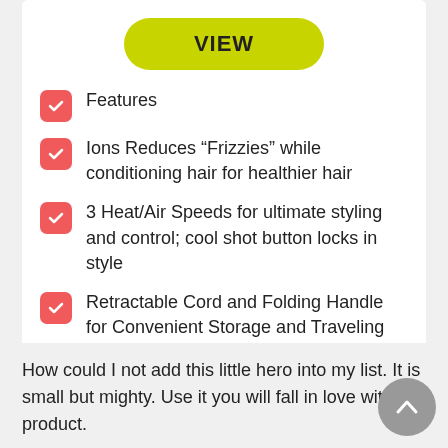[Figure (other): Yellow-green rounded button with text VIEW]
Features
Ions Reduces “Frizzies” while conditioning hair for healthier hair
3 Heat/Air Speeds for ultimate styling and control; cool shot button locks in style
Retractable Cord and Folding Handle for Convenient Storage and Traveling
How could I not add this little hero into my list. It is small but mighty. Use it you will fall in love with this product.